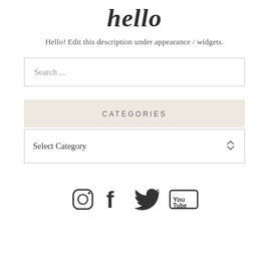hello
Hello! Edit this description under appearance / widgets.
[Figure (other): Search input box with placeholder text 'Search ...']
CATEGORIES
[Figure (other): Select Category dropdown widget with up/down arrow icon]
[Figure (other): Social media icons: Instagram, Facebook, Twitter, YouTube]